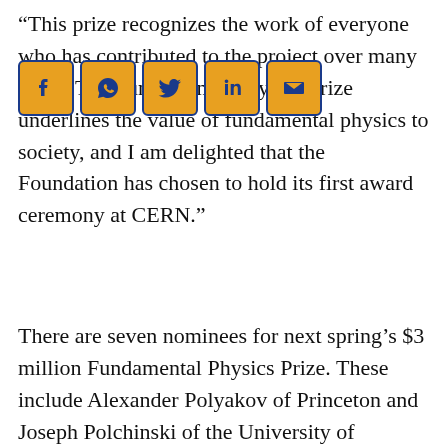“This prize recognizes the work of everyone who has contributed to the project over many years. The Fundamental Physics Prize underlines the value of fundamental physics to society, and I am delighted that the Foundation has chosen to hold its first award ceremony at CERN.”
[Figure (other): Social media sharing icons: Facebook, WhatsApp, Twitter, LinkedIn, Email]
There are seven nominees for next spring’s $3 million Fundamental Physics Prize. These include Alexander Polyakov of Princeton and Joseph Polchinski of the University of California, Santa Barbara, both of whom work in quantum field theory and string theory.